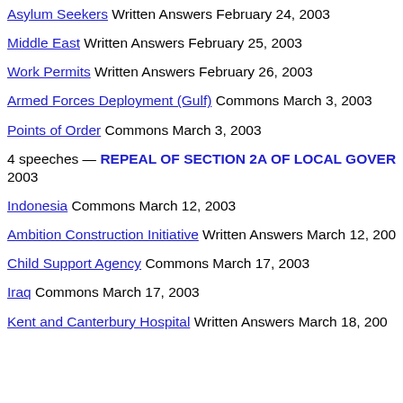Asylum Seekers Written Answers February 24, 2003
Middle East Written Answers February 25, 2003
Work Permits Written Answers February 26, 2003
Armed Forces Deployment (Gulf) Commons March 3, 2003
Points of Order Commons March 3, 2003
4 speeches — REPEAL OF SECTION 2A OF LOCAL GOVER... 2003
Indonesia Commons March 12, 2003
Ambition Construction Initiative Written Answers March 12, 200...
Child Support Agency Commons March 17, 2003
Iraq Commons March 17, 2003
Kent and Canterbury Hospital Written Answers March 18, 200...